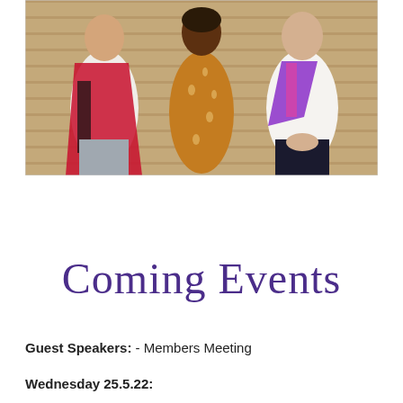[Figure (photo): Three women standing together indoors. Left woman wears white long-sleeve top with a red and black patterned shawl/scarf draped over her. Center woman wears a brown/golden floral patterned long dress. Right woman wears a white blouse with a purple and magenta scarf tied around her neck. Background shows wooden slat wall paneling.]
Coming Events
Guest Speakers: - Members Meeting
Wednesday 25.5.22: